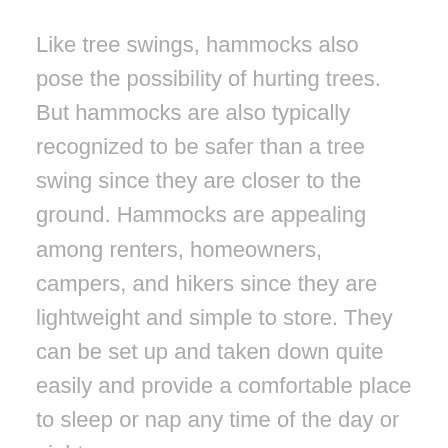Like tree swings, hammocks also pose the possibility of hurting trees. But hammocks are also typically recognized to be safer than a tree swing since they are closer to the ground. Hammocks are appealing among renters, homeowners, campers, and hikers since they are lightweight and simple to store. They can be set up and taken down quite easily and provide a comfortable place to sleep or nap any time of the day or night.
There are literally dozens of hammocks, including some with a freestanding frame. Undeniably, hammocks also have a possibility of accident and injury, and same as any swing, they can be a genuine hazard if not used safely.